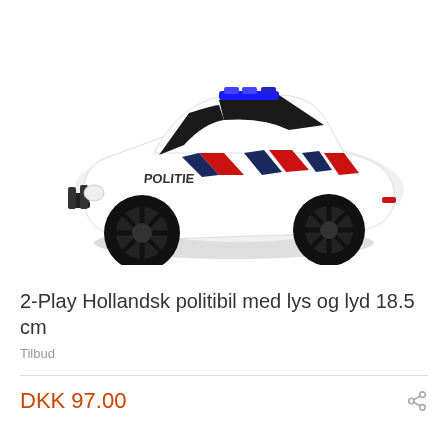[Figure (photo): Toy police car with Dutch 'POLITIE' markings, white body with red and dark blue diagonal stripes, blue LED light bar on top, black wheels, front bull bar. Product photo on white background.]
2-Play Hollandsk politibil med lys og lyd 18.5 cm
Tilbud
DKK 97.00